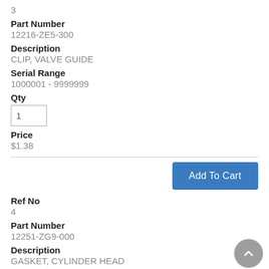3
Part Number
12216-ZE5-300
Description
CLIP, VALVE GUIDE
Serial Range
1000001 - 9999999
Qty
1
Price
$1.38
Add To Cart
Ref No
4
Part Number
12251-ZG9-000
Description
GASKET, CYLINDER HEAD